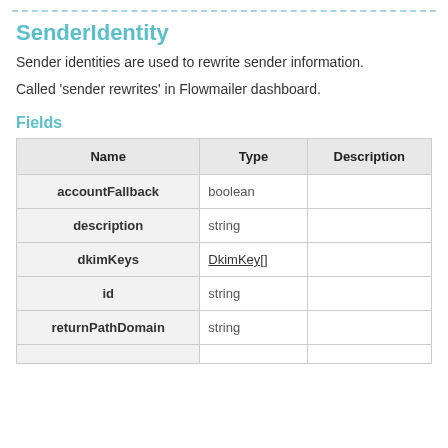SenderIdentity
Sender identities are used to rewrite sender information.
Called 'sender rewrites' in Flowmailer dashboard.
Fields
| Name | Type | Description |
| --- | --- | --- |
| accountFallback | boolean |  |
| description | string |  |
| dkimKeys | DkimKey[] |  |
| id | string |  |
| returnPathDomain | string |  |
|  |  |  |